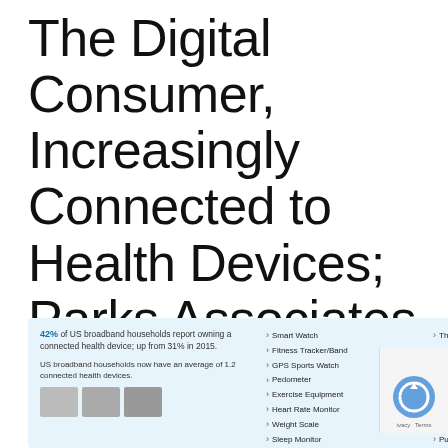The Digital Consumer, Increasingly Connected to Health Devices; Parks Associates Kicking Off #CES2021
[Figure (infographic): Infographic panel on light blue background showing: 42% of US broadband households report owning a connected health device; up from 31% in 2015. US broadband households now have an average of 1.2 connected health devices. Lists of connected health devices in two columns including Smart Watch, Fitness Tracker/Band, GPS Sports Watch, Pedometer, Exercise Equipment, Heart Rate Monitor, Weight Scale, Sleep Monitor, Thermometer, Glucometer, Blood Pressure Cuff, Pill Box, CPAP Machine, Cardiac Monitoring Device, Pulse Oximeter, Hearing Aid.]